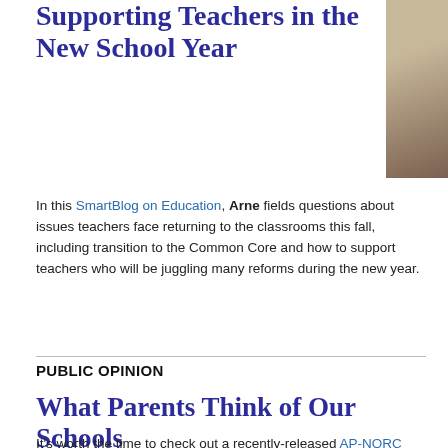Supporting Teachers in the New School Year
[Figure (photo): Partial photo of a person with a backpack, cropped at right edge of page]
In this SmartBlog on Education, Arne fields questions about issues teachers face returning to the classrooms this fall, including transition to the Common Core and how to support teachers who will be juggling many reforms during the new year.
PUBLIC OPINION
What Parents Think of Our Schools
It's worth the time to check out a recently-released AP-NORC poll on Parents' Attitudes Toward Education in the United States. Some highlights: